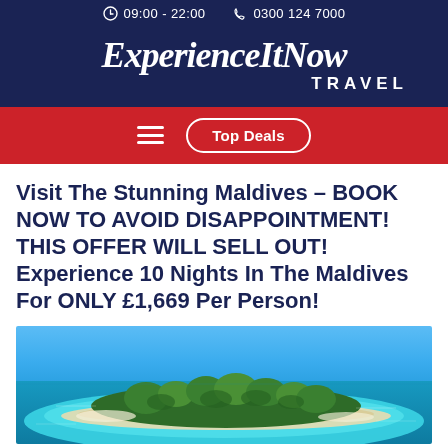09:00 - 22:00   0300 124 7000
ExperienceItNow TRAVEL
Top Deals
Visit The Stunning Maldives – BOOK NOW TO AVOID DISAPPOINTMENT! THIS OFFER WILL SELL OUT! Experience 10 Nights In The Maldives For ONLY £1,669 Per Person!
[Figure (photo): Aerial photograph of a tropical Maldives island with turquoise water, sandy beach and lush green palm trees]